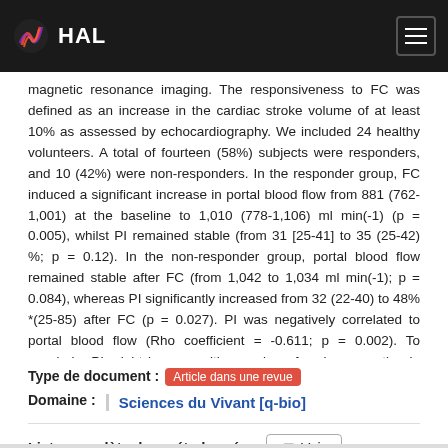HAL
magnetic resonance imaging. The responsiveness to FC was defined as an increase in the cardiac stroke volume of at least 10% as assessed by echocardiography. We included 24 healthy volunteers. A total of fourteen (58%) subjects were responders, and 10 (42%) were non-responders. In the responder group, FC induced a significant increase in portal blood flow from 881 (762-1,001) at the baseline to 1,010 (778-1,106) ml min(-1) (p = 0.005), whilst PI remained stable (from 31 [25-41] to 35 (25-42) %; p = 0.12). In the non-responder group, portal blood flow remained stable after FC (from 1,042 to 1,034 ml min(-1); p = 0.084), whereas PI significantly increased from 32 (22-40) to 48% *(25-85) after FC (p = 0.027). PI was negatively correlated to portal blood flow (Rho coefficient = -0.611; p = 0.002). To conclude, PI might be a sensitive marker of early congestion in healthy subjects that did not respond to FC. This finding requires further validation in clinical settings with a larger sample size.
Type de document : Article dans une revue
Domaine : Sciences du Vivant [q-bio]
Liste complète des métadonnées  Voir